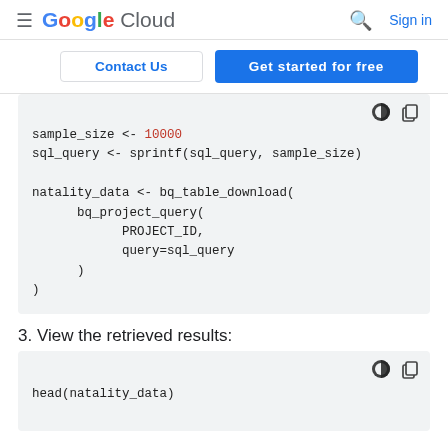Google Cloud  Sign in
Contact Us | Get started for free
[Figure (screenshot): Code block showing R code: sample_size <- 10000, sql_query <- sprintf(sql_query, sample_size), natality_data <- bq_table_download(bq_project_query(PROJECT_ID, query=sql_query))]
3. View the retrieved results:
[Figure (screenshot): Code block showing R code: head(natality_data)]